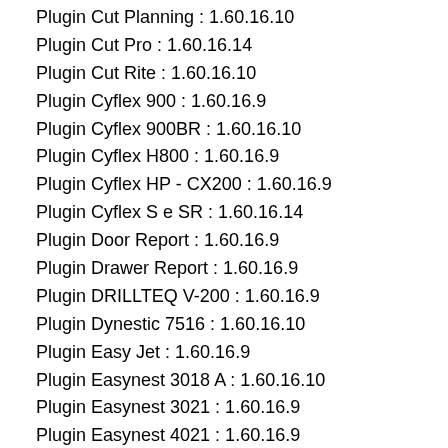Plugin Cut Planning : 1.60.16.10
Plugin Cut Pro : 1.60.16.14
Plugin Cut Rite : 1.60.16.10
Plugin Cyflex 900 : 1.60.16.9
Plugin Cyflex 900BR : 1.60.16.10
Plugin Cyflex H800 : 1.60.16.9
Plugin Cyflex HP - CX200 : 1.60.16.9
Plugin Cyflex S e SR : 1.60.16.14
Plugin Door Report : 1.60.16.9
Plugin Drawer Report : 1.60.16.9
Plugin DRILLTEQ V-200 : 1.60.16.9
Plugin Dynestic 7516 : 1.60.16.10
Plugin Easy Jet : 1.60.16.9
Plugin Easynest 3018 A : 1.60.16.10
Plugin Easynest 3021 : 1.60.16.9
Plugin Easynest 4021 : 1.60.16.9
Plugin Edge Band Report : 1.60.16.9
Plugin ERP Focco : 1.60.16.10
Plugin ERP Insight : 1.60.16.11
Plugin ERP Promob : 1.60.16.12